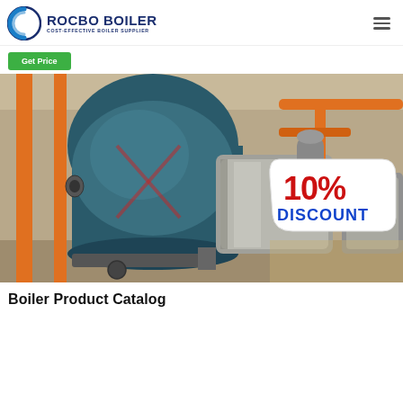[Figure (logo): Rocbo Boiler logo with circular wave icon and text 'ROCBO BOILER - COST-EFFECTIVE BOILER SUPPLIER']
Get Price
[Figure (photo): Industrial boiler room showing large cylindrical boilers with orange pipes and a '10% DISCOUNT' badge overlay on the right side]
Boiler Product Catalog